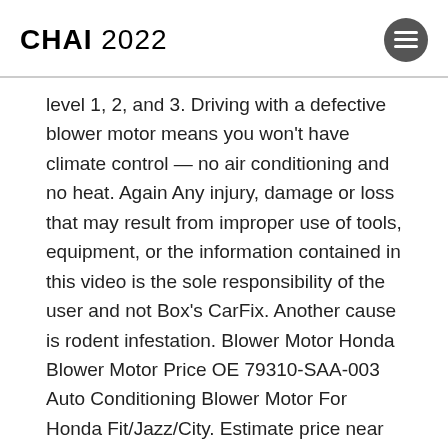CHAI 2022
level 1, 2, and 3. Driving with a defective blower motor means you won't have climate control — no air conditioning and no heat. Again Any injury, damage or loss that may result from improper use of tools, equipment, or the information contained in this video is the sole responsibility of the user and not Box's CarFix. Another cause is rodent infestation. Blower Motor Honda Blower Motor Price OE 79310-SAA-003 Auto Conditioning Blower Motor For Honda Fit/Jazz/City. Estimate price near me. A Honda Civic Blower Motor Replacement costs between $244 and $265 on average. Mechanic comes to you. Dealer changed blower motor, but did not resolve issue. You can watch; glove box removal, blower motor removal and installation. It doesn't break completely cause it always blows air. YourMechanic Benefits . Limited-Lifetime Warranty. The speed of the blower motor is checked once per minute [...]to ensure proper operation. 1. Piece